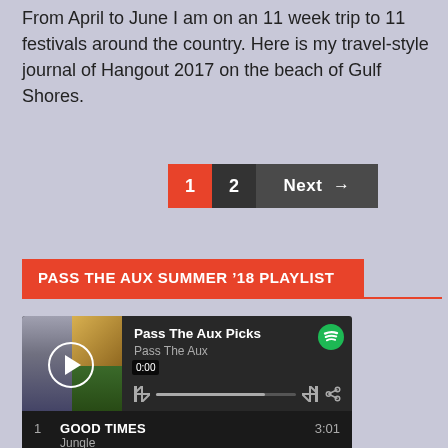From April to June I am on an 11 week trip to 11 festivals around the country. Here is my travel-style journal of Hangout 2017 on the beach of Gulf Shores.
[Figure (other): Pagination controls: button 1 (active, red), button 2 (dark), Next button with arrow (dark)]
PASS THE AUX SUMMER '18 PLAYLIST
[Figure (screenshot): Spotify embedded playlist widget showing 'Pass The Aux Picks' by Pass The Aux with playback controls, time 0:00, and track list including track 1: GOOD TIMES by Jungle, duration 3:01, and partial view of track 2]